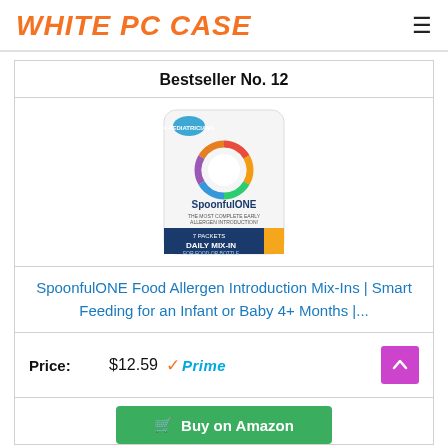WHITE PC CASE
Bestseller No. 12
[Figure (photo): SpoonfulONE Food Allergen Introduction Mix-Ins product package — white pouch with colorful allergen wheel logo, 7 packets, Daily Mix-In]
SpoonfulONE Food Allergen Introduction Mix-Ins | Smart Feeding for an Infant or Baby 4+ Months |...
Price: $12.59 ✓Prime
Buy on Amazon